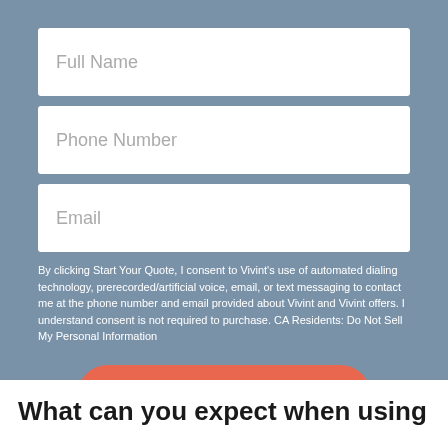Full Name
Phone Number
Email
By clicking Start Your Quote, I consent to Vivint's use of automated dialing technology, prerecorded/artificial voice, email, or text messaging to contact me at the phone number and email provided about Vivint and Vivint offers. I understand consent is not required to purchase. CA Residents: Do Not Sell My Personal Information
Start Your Quote
What can you expect when using